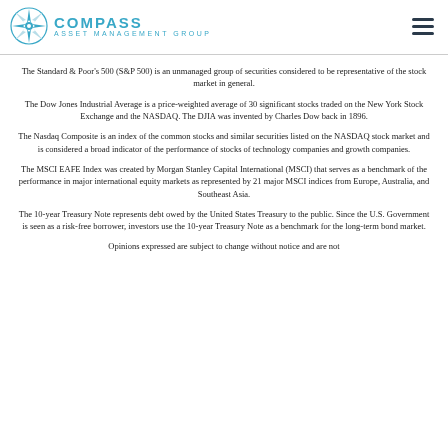COMPASS ASSET MANAGEMENT GROUP
The Standard & Poor's 500 (S&P 500) is an unmanaged group of securities considered to be representative of the stock market in general.
The Dow Jones Industrial Average is a price-weighted average of 30 significant stocks traded on the New York Stock Exchange and the NASDAQ. The DJIA was invented by Charles Dow back in 1896.
The Nasdaq Composite is an index of the common stocks and similar securities listed on the NASDAQ stock market and is considered a broad indicator of the performance of stocks of technology companies and growth companies.
The MSCI EAFE Index was created by Morgan Stanley Capital International (MSCI) that serves as a benchmark of the performance in major international equity markets as represented by 21 major MSCI indices from Europe, Australia, and Southeast Asia.
The 10-year Treasury Note represents debt owed by the United States Treasury to the public. Since the U.S. Government is seen as a risk-free borrower, investors use the 10-year Treasury Note as a benchmark for the long-term bond market.
Opinions expressed are subject to change without notice and are not